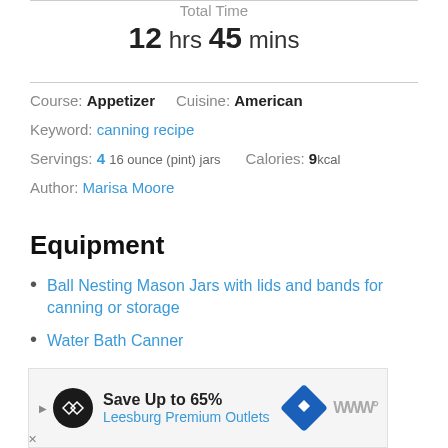Total Time
12 hrs 45 mins
Course: Appetizer    Cuisine: American
Keyword: canning recipe
Servings: 4 16 ounce (pint) jars    Calories: 9kcal
Author: Marisa Moore
Equipment
Ball Nesting Mason Jars with lids and bands for canning or storage
Water Bath Canner
[Figure (other): Heart/like button with count 145 and share button]
[Figure (other): Advertisement banner: Save Up to 65% Leesburg Premium Outlets]